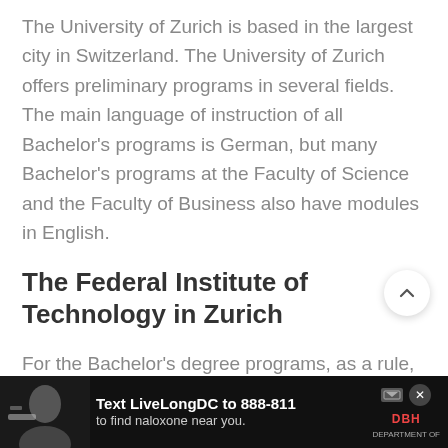The University of Zurich is based in the largest city in Switzerland. The University of Zurich offers preliminary programs in several fields. The main language of instruction of all Bachelor's programs is German, but many Bachelor's programs at the Faculty of Science and the Faculty of Business also have modules in English.
The Federal Institute of Technology in Zurich
For the Bachelor's degree programs, as a rule, the
[Figure (other): Advertisement banner at the bottom: 'Text LiveLongDC to 888-811 to find naloxone near you.' with DBH logo and a person's photo on the left. Dark background with white text.]